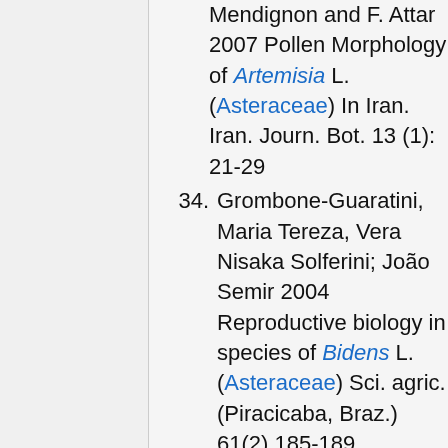(continuation) Mendignon and F. Attar 2007 Pollen Morphology of Artemisia L. (Asteraceae) In Iran. Iran. Journ. Bot. 13 (1): 21-29
34. Grombone-Guaratini, Maria Tereza, Vera Nisaka Solferini; João Semir 2004 Reproductive biology in species of Bidens L. (Asteraceae) Sci. agric. (Piracicaba, Braz.) 61(2) 185-189
35. Grombone-Guaratini,